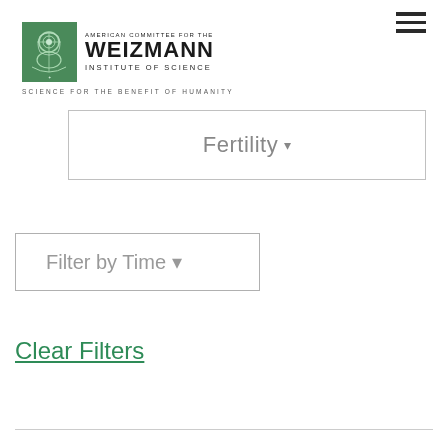[Figure (logo): American Committee for the Weizmann Institute of Science logo with emblem and text]
SCIENCE FOR THE BENEFIT OF HUMANITY
Fertility ▾
Filter by Time ▾
Clear Filters